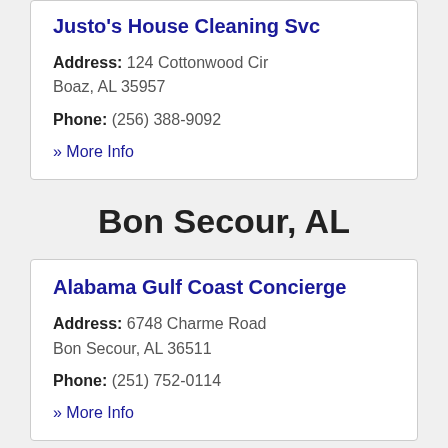Justo's House Cleaning Svc
Address: 124 Cottonwood Cir Boaz, AL 35957
Phone: (256) 388-9092
» More Info
Bon Secour, AL
Alabama Gulf Coast Concierge
Address: 6748 Charme Road Bon Secour, AL 36511
Phone: (251) 752-0114
» More Info